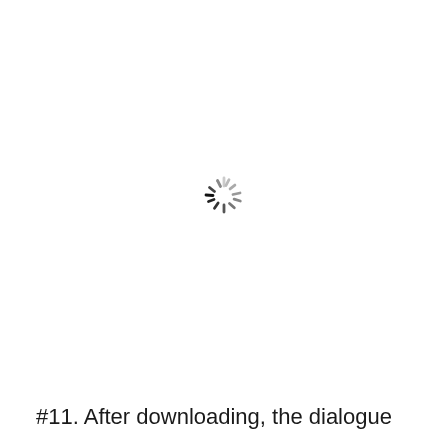[Figure (other): A loading spinner icon centered on the page, showing a circular arrangement of short dashes/lines in varying shades of gray and dark, indicating a loading or processing state.]
#11. After downloading, the dialogue